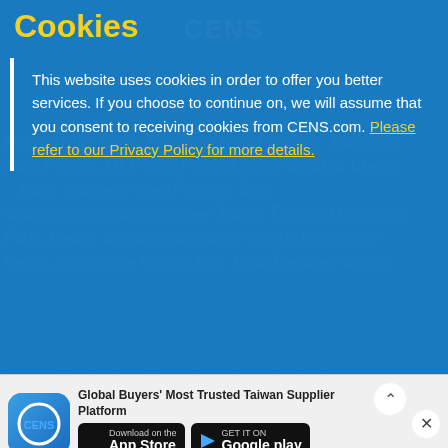CENS
Cookies
This website uses cookies in order to offer you better services. If you choose to continue on, we will assume that you consent to receiving cookies from CENS.com. Please refer to our Privacy Policy for more details.
OK
Alloy, Aluminum, Forged Parts, Butterfly Valves, Camshaft, Crankshafts, Drive Shafts, Clutch Assemblies, Clutches, Clutch Parts, Lift Kits, Forged and Cast Parts, Engine Valves, Servo Type Motor, Transmission System Parts, Suspension Parts, Bicycle Parts, Transmission Parts, Gear
[Figure (screenshot): App download banner with CENS logo, text 'Global Buyers' Most Trusted Taiwan Supplier Platform', App Store button, and Google Play button. Close X and scroll-up arrow buttons visible.]